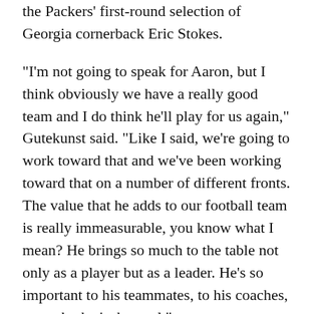the Packers' first-round selection of Georgia cornerback Eric Stokes.
"I'm not going to speak for Aaron, but I think obviously we have a really good team and I do think he'll play for us again," Gutekunst said. "Like I said, we're going to work toward that and we've been working toward that on a number of different fronts. The value that he adds to our football team is really immeasurable, you know what I mean? He brings so much to the table not only as a player but as a leader. He's so important to his teammates, to his coaches, so yeah, that's the goal."
San Francisco 49ers general manager John Lynch acknowledged he had checked with the Packers about Rodgers' potential availability and was quickly rebuffed. The 49ers selected North Dakota State quarterback